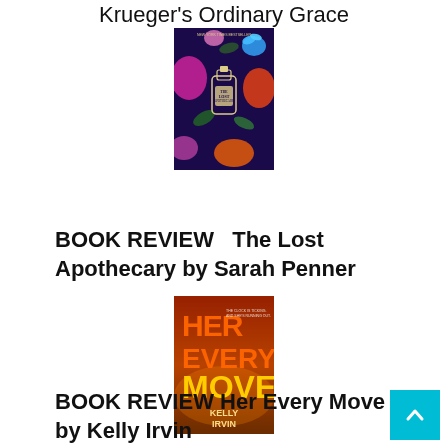Krueger's Ordinary Grace
[Figure (photo): Book cover of The Lost Apothecary by Sarah Penner — dark blue background with botanical flowers and a glass bottle]
BOOK REVIEW   The Lost Apothecary by Sarah Penner
[Figure (photo): Book cover of Her Every Move by Kelly Irvin — fiery orange/red background with large bold yellow text]
BOOK REVIEW Her Every Move by Kelly Irvin